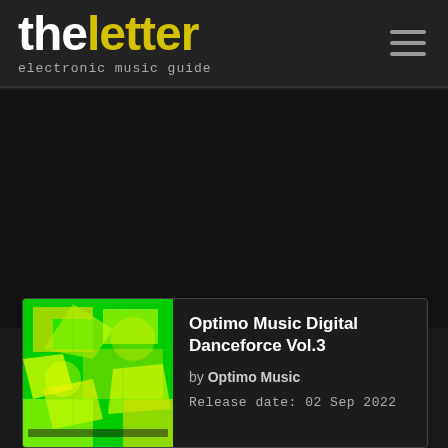theletter — electronic music guide
[Figure (illustration): Album artwork for Optimo Music Digital Danceforce Vol.3 — abstract green and yellow digital pattern]
Optimo Music Digital Danceforce Vol.3
by Optimo Music
Release date: 02 Sep 2022